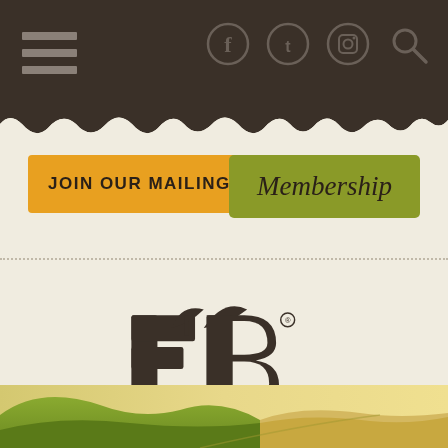[Figure (screenshot): Dark brown navigation header bar with hamburger menu icon on left and social media icons (Facebook, Twitter, Instagram) plus search icon on right]
[Figure (other): Orange button: JOIN OUR MAILING LIST]
[Figure (other): Olive green button: Membership (italic)]
[Figure (logo): San Luis Obispo County Farm Bureau logo - FB monogram with plant sprout, text 'San Luis Obispo County' in olive green italic and 'FARM BUREAU' in dark brown bold]
[Figure (photo): Landscape photo strip showing green rolling hills meeting golden fields]